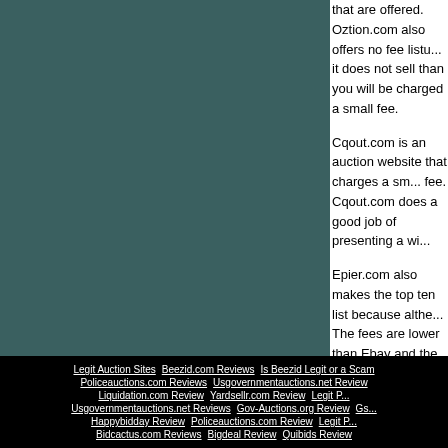that are offered. Oztion.com also offers no fee listi... it does not sell than you will be charged a small fee.
Cqout.com is an auction website that charges a sm... fee. Cqout.com does a good job of presenting a wi...
Epier.com also makes the top ten list because alth... The fees are lower than Ebay and the site has a wi...
But probably the best liked auction site according t... out as well.
Legit Auction Sites | Beezid.com Reviews | Is Beezid Legit or a Scam | Policeauctions.com Reviews | Usgovernmentauctions.net Review | Liquidation.com Review | Yardsellr.com Review | Legit... | Usgovernmentauctions.net Reviews | Gov-Auctions.org Review | Gs... | Happybidday Review | Policeauctions.com Review | Legit P... | Bidcactus.com Reviews | Bigdeal Review | Quibids Review